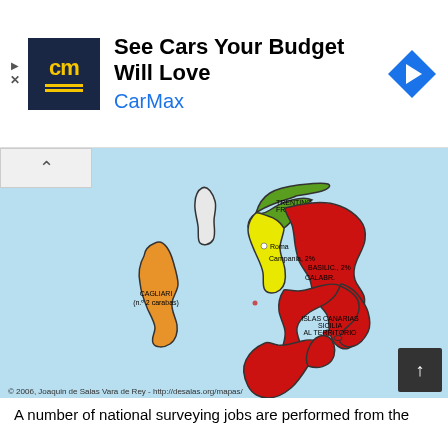[Figure (screenshot): CarMax advertisement banner with logo, headline 'See Cars Your Budget Will Love', and navigation arrow icon]
[Figure (map): Map of Italy showing regions colored in different colors: green (north), yellow (Lazio/central), red (most of mainland south and Sicily), and orange (Sardinia), on a light blue background. Copyright 2006, Joaquin de Salas Vara de Rey.]
A number of national surveying jobs are performed from the